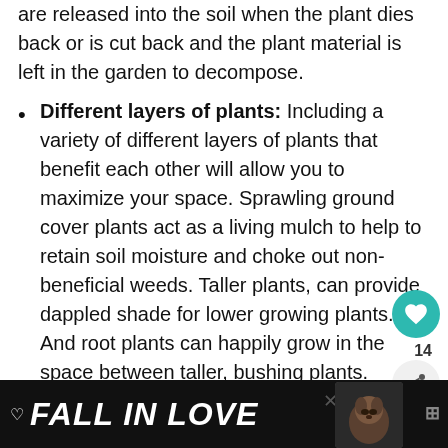are released into the soil when the plant dies back or is cut back and the plant material is left in the garden to decompose.
Different layers of plants: Including a variety of different layers of plants that benefit each other will allow you to maximize your space. Sprawling ground cover plants act as a living mulch to help to retain soil moisture and choke out non-beneficial weeds. Taller plants, can provide dappled shade for lower growing plants. And root plants can happily grow in the space between taller, bushing plants. Climbing plants can grow up and in between other taller plants.
[Figure (screenshot): Advertisement banner at bottom of page reading FALL IN LOVE with an image of a dog and person]